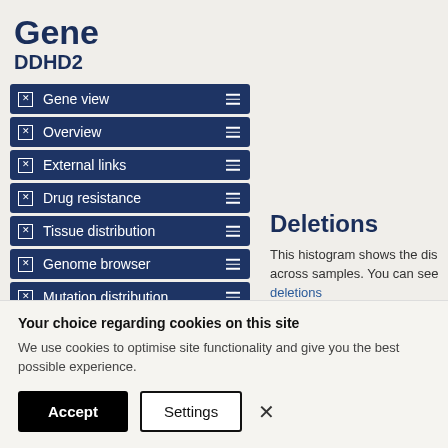Gene
DDHD2
Gene view
Overview
External links
Drug resistance
Tissue distribution
Genome browser
Mutation distribution
Deletions
This histogram shows the dis across samples. You can see deletions
Your choice regarding cookies on this site
We use cookies to optimise site functionality and give you the best possible experience.
Accept  Settings  ×